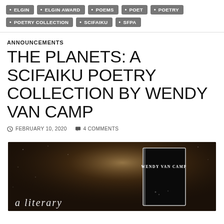ELGIN • ELGIN AWARD • POEMS • POET • POETRY • POETRY COLLECTION • SCIFAIKU • SFPA
ANNOUNCEMENTS
THE PLANETS: A SCIFAIKU POETRY COLLECTION BY WENDY VAN CAMP
FEBRUARY 10, 2020  4 COMMENTS
[Figure (photo): Dark space-themed background with light rays, showing a book cover for Wendy Van Camp with text 'a literary' visible at the bottom]